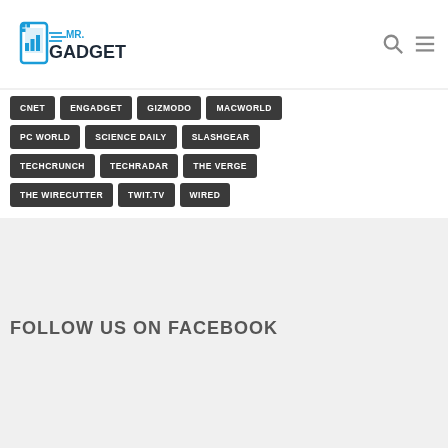[Figure (logo): Mr. Gadget logo with smartphone icon and blue/dark text]
CNET
ENGADGET
GIZMODO
MACWORLD
PC WORLD
SCIENCE DAILY
SLASHGEAR
TECHCRUNCH
TECHRADAR
THE VERGE
THE WIRECUTTER
TWIT.TV
WIRED
FOLLOW US ON FACEBOOK